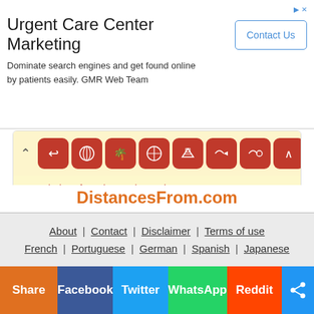[Figure (screenshot): Advertisement banner for Urgent Care Center Marketing by GMR Web Team with Contact Us button]
Travel Time from kampala to First St
[Figure (infographic): Row of red icon buttons for travel-related actions]
>More kampala travel times
DistancesFrom.com
About | Contact | Disclaimer | Terms of use
French | Portuguese | German | Spanish | Japanese
Share Facebook Twitter WhatsApp Reddit